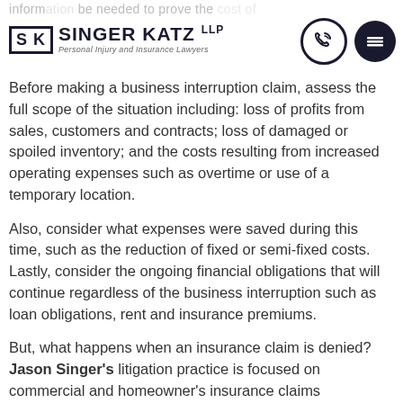Singer Katz LLP — Personal Injury and Insurance Lawyers
Before making a business interruption claim, assess the full scope of the situation including: loss of profits from sales, customers and contracts; loss of damaged or spoiled inventory; and the costs resulting from increased operating expenses such as overtime or use of a temporary location.
Also, consider what expenses were saved during this time, such as the reduction of fixed or semi-fixed costs. Lastly, consider the ongoing financial obligations that will continue regardless of the business interruption such as loan obligations, rent and insurance premiums.
But, what happens when an insurance claim is denied? Jason Singer's litigation practice is focused on commercial and homeowner's insurance claims…